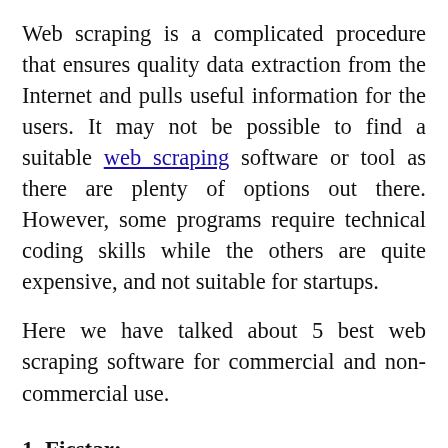Web scraping is a complicated procedure that ensures quality data extraction from the Internet and pulls useful information for the users. It may not be possible to find a suitable web scraping software or tool as there are plenty of options out there. However, some programs require technical coding skills while the others are quite expensive, and not suitable for startups.
Here we have talked about 5 best web scraping software for commercial and non-commercial use.
1. Ficstar:
Ficstar is one of the leading companies that always it...